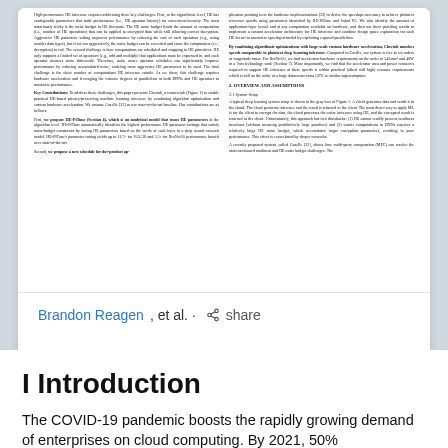[Figure (screenshot): Scanned academic paper with two-column layout showing text about HE inference, key contributions, overview and assumptions, and system setup sections.]
Brandon Reagen, et al. · share
I Introduction
The COVID-19 pandemic boosts the rapidly growing demand of enterprises on cloud computing. By 2021, 50%